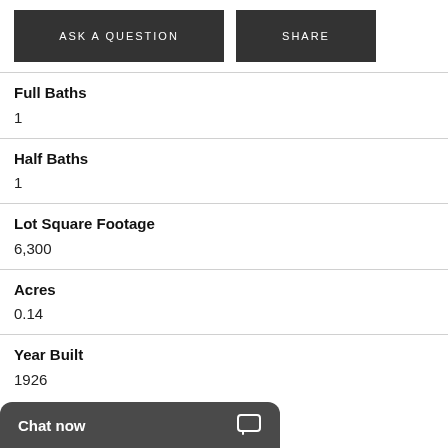ASK A QUESTION
SHARE
Full Baths
1
Half Baths
1
Lot Square Footage
6,300
Acres
0.14
Year Built
1926
Chat now